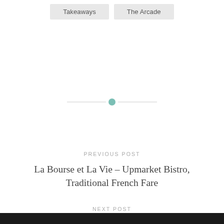Takeaways
The Arcade
[Figure (other): Horizontal divider line with a teal/green circle in the center]
PREVIOUS POST
La Bourse et La Vie – Upmarket Bistro, Traditional French Fare
NEXT POST
L'Absinthe – Thoughtful, Modern French Cuisine